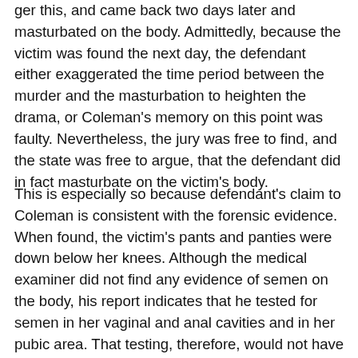ger this, and came back two days later and masturbated on the body. Admittedly, because the victim was found the next day, the defendant either exaggerated the time period between the murder and the masturbation to heighten the drama, or Coleman's memory on this point was faulty. Nevertheless, the jury was free to find, and the state was free to argue, that the defendant did in fact masturbate on the victim's body.
This is especially so because defendant's claim to Coleman is consistent with the forensic evidence. When found, the victim's pants and panties were down below her knees. Although the medical examiner did not find any evidence of semen on the body, his report indicates that he tested for semen in her vaginal and anal cavities and in her pubic area. That testing, therefore, would not have revealed semen on her buttocks or back. See EPP/documents/autopsy report/highlight 1; see T. 6/3 at 10-12. In addition, the victim had two bloody smudges